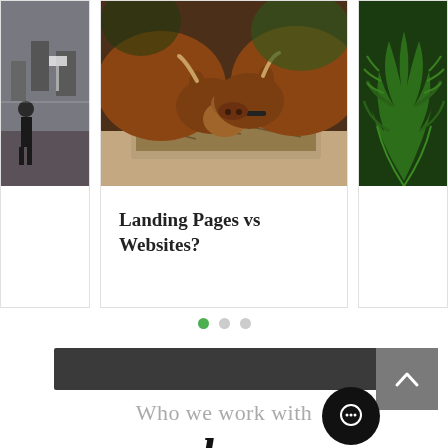[Figure (photo): Carousel showing three cards: left partial card with a street photo, center card with two brown cows eating hay from a trough, right partial card with green fern leaves]
Landing Pages vs Websites?
[Figure (other): Three carousel indicator dots, first dot active (green), second and third grey]
[Figure (other): Dark grey navigation footer bar with a back-to-top arrow button]
Who we work with
[Figure (logo): Stylized 'be' italic bold black logo]